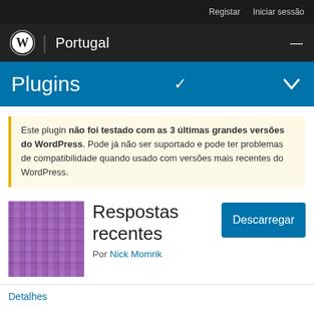Registar  Iniciar sessão
WordPress Portugal
Plugins
Este plugin não foi testado com as 3 últimas grandes versões do WordPress. Pode já não ser suportado e pode ter problemas de compatibilidade quando usado com versões mais recentes do WordPress.
[Figure (illustration): Purple plaid/tartan pattern plugin thumbnail]
Respostas recentes
Por Nick Momrik
Descarregar
Detalhes